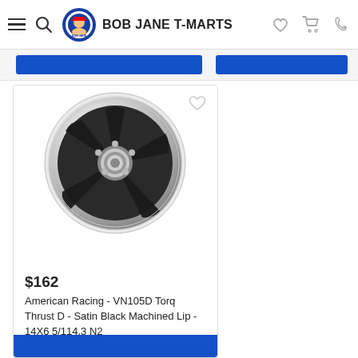BOB JANE T-MARTS
[Figure (photo): American Racing VN105D Torq Thrust D wheel - Satin Black with Machined Lip, 5-spoke design]
$162
American Racing - VN105D Torq Thrust D - Satin Black Machined Lip - 14X6 5/114.3 N2